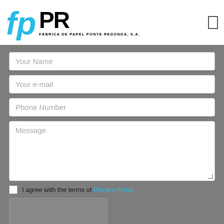[Figure (logo): Fábrica de Papel Ponte Redonda logo with stylized 'fp' in blue and 'PR' in bold black, subtitle reads FÁBRICA DE PAPEL PONTE REDONDA, S.A.]
Your Name
Your e-mail
Phone Number
Message
I agree with the terms of Privacy Policy